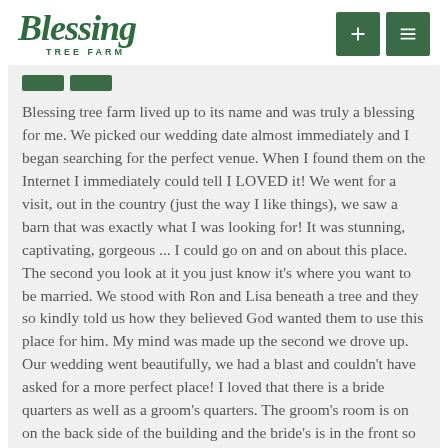Blessing Tree Farm
Blessing tree farm lived up to its name and was truly a blessing for me. We picked our wedding date almost immediately and I began searching for the perfect venue. When I found them on the Internet I immediately could tell I LOVED it! We went for a visit, out in the country (just the way I like things), we saw a barn that was exactly what I was looking for! It was stunning, captivating, gorgeous ... I could go on and on about this place. The second you look at it you just know it's where you want to be married. We stood with Ron and Lisa beneath a tree and they so kindly told us how they believed God wanted them to use this place for him. My mind was made up the second we drove up. Our wedding went beautifully, we had a blast and couldn't have asked for a more perfect place! I loved that there is a bride quarters as well as a groom's quarters. The groom's room is on on the back side of the building and the bride's is in the front so you won't see each other. And this